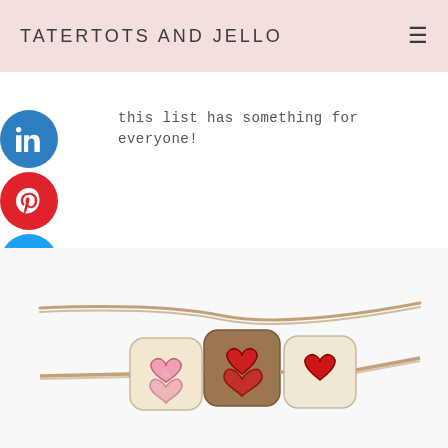TATERTOTS AND JELLO
this list has something for everyone!
[Figure (illustration): Three wooden cube beads with heart designs strung on a jute twine cord. The left bead is cream/white with a pink heart, the middle bead is brown with red hearts, and the right bead is cream/white with a red heart.]